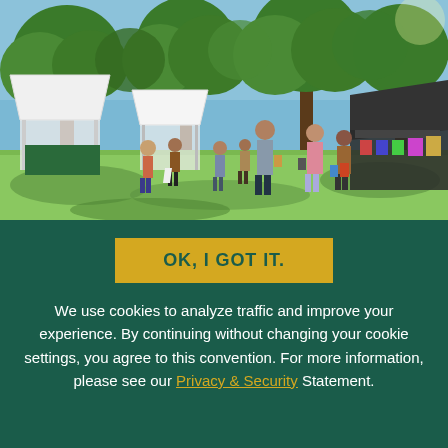[Figure (photo): Outdoor farmers market or art fair scene with people browsing vendor tents and stalls under large green trees on a sunny day. White canopy tents visible on left, dark canopy on right with merchandise displayed. Multiple people walking and standing on grass.]
OK, I GOT IT.
We use cookies to analyze traffic and improve your experience. By continuing without changing your cookie settings, you agree to this convention. For more information, please see our Privacy & Security Statement.